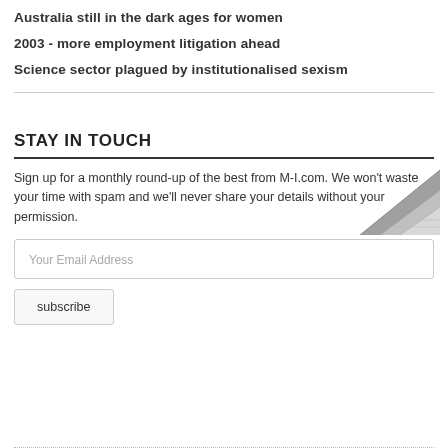Australia still in the dark ages for women
2003 - more employment litigation ahead
Science sector plagued by institutionalised sexism
STAY IN TOUCH
Sign up for a monthly round-up of the best from M-I.com. We won't waste your time with spam and we'll never share your details without your permission.
[Figure (illustration): Geometric triangular logo/watermark in grey tones, bottom-right of text block]
Your Email Address
subscribe